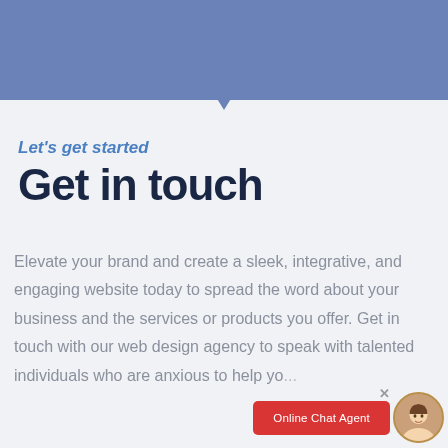[Figure (illustration): Blue/steel-blue banner at the top of the page with a large downward-pointing triangle shape pointing into the content area below]
Let's get started
Get in touch
Elevate your brand and create a sleek, integrative, and engaging website today to spread the word about your business and the services or products you offer. Get in touch with our web design agency to speak with talented individuals who are anxious to help you... b
[Figure (illustration): Red 'Online Chat Agent' button with a close X above it and a circular avatar photo of a smiling woman to the right]